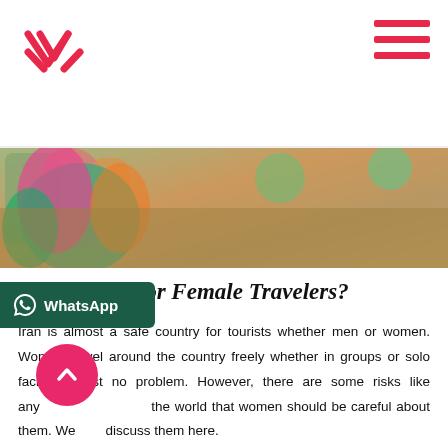Website header with logo and hamburger menu
[Figure (photo): Partial view of women in colorful traditional clothing on sandy ground, cropped at top of page]
Is Iran Safe for Female Travelers?
Iran is almost a safe country for tourists whether men or women. Women travel around the country freely whether in groups or solo facing almost no problem. However, there are some risks like any [country in] the world that women should be careful about them. We briefly discuss them here. W[alking] alone in uncrowded areas are not recommended. If you are interested in walking in uncrowded areas, it is wise enough to join a